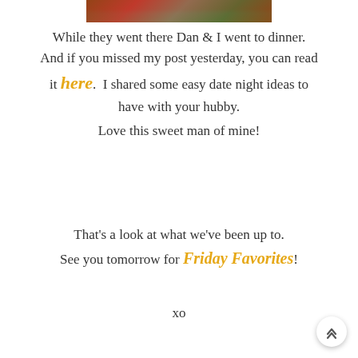[Figure (photo): Cropped photo strip at top of page showing partial image of people, appears to be outdoors scene with red and green tones]
While they went there Dan & I went to dinner. And if you missed my post yesterday, you can read it here. I shared some easy date night ideas to have with your hubby. Love this sweet man of mine!
That's a look at what we've been up to. See you tomorrow for Friday Favorites!
xo